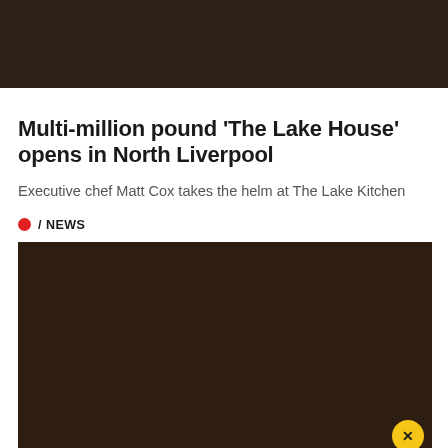[Figure (photo): Dark brown/near-black header image area at the top of the page]
Multi-million pound 'The Lake House' opens in North Liverpool
Executive chef Matt Cox takes the helm at The Lake Kitchen
/ NEWS
[Figure (photo): Large dark brown image area showing interior or exterior of The Lake House venue, with a yellow circular close button in the bottom right corner]